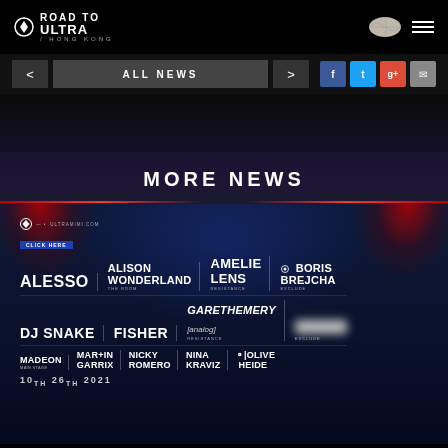Road to Ultra Hong Kong
ALL NEWS
MORE NEWS
[Figure (photo): Road to Ultra Hong Kong event lineup poster featuring artists: ALESSO, ALISON WONDERLAND, AMELIE LENS, BORIS BREJCHA, DJ SNAKE, FISHER, GARETHEMERY [analog], MADEON, MARTIN GARRIX, NICKY ROMERO, NINA KRAVIZ, OLIVE HEIDE. Date shown: 10th 26th 2021]